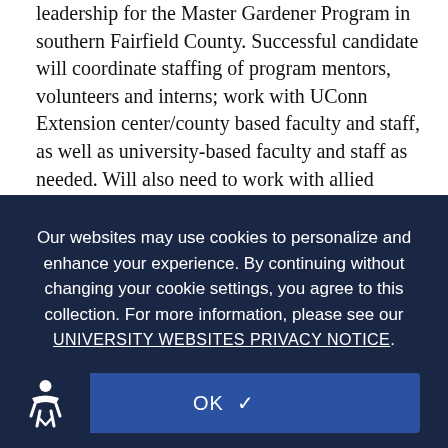leadership for the Master Gardener Program in southern Fairfield County. Successful candidate will coordinate staffing of program mentors, volunteers and interns; work with UConn Extension center/county based faculty and staff, as well as university-based faculty and staff as needed. Will also need to work with allied community groups and Extension partners such as the CT Master Gardener Association; train and supervise interns when classroom teaching opportunities exist; and conduct Advanced Master Gardener trainings; develop and coordinate programs with community organizations including the Bartlett Arboretum; and manage contacts on program participants (large number of clientele contacts); and communicate effectively with the state coordinator, other county coordinators, and the Bartlett Arboretum staff. Monthly reports shall be communicated to the state office and topical information may be shared as requested.
[Figure (screenshot): Cookie consent overlay on a dark navy background. Text reads: 'Our websites may use cookies to personalize and enhance your experience. By continuing without changing your cookie settings, you agree to this collection. For more information, please see our UNIVERSITY WEBSITES PRIVACY NOTICE.' with an OK button below.]